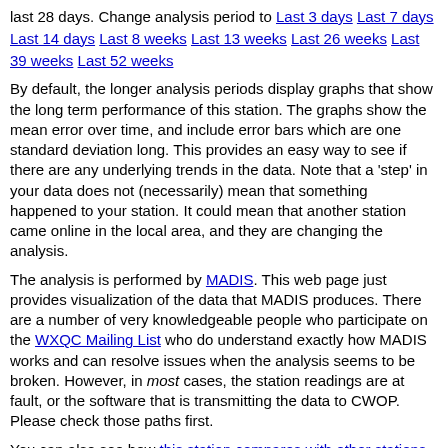last 28 days. Change analysis period to Last 3 days Last 7 days Last 14 days Last 8 weeks Last 13 weeks Last 26 weeks Last 39 weeks Last 52 weeks
By default, the longer analysis periods display graphs that show the long term performance of this station. The graphs show the mean error over time, and include error bars which are one standard deviation long. This provides an easy way to see if there are any underlying trends in the data. Note that a 'step' in your data does not (necessarily) mean that something happened to your station. It could mean that another station came online in the local area, and they are changing the analysis.
The analysis is performed by MADIS. This web page just provides visualization of the data that MADIS produces. There are a number of very knowledgeable people who participate on the WXQC Mailing List who do understand exactly how MADIS works and can resolve issues when the analysis seems to be broken. However, in most cases, the station readings are at fault, or the software that is transmitting the data to CWOP. Please check those paths first.
You can also see how this station compares with other stations.
A recently received weather report from this station was
Analyze: CW9653>APRS,TCPXX*,qAX,CWOP-